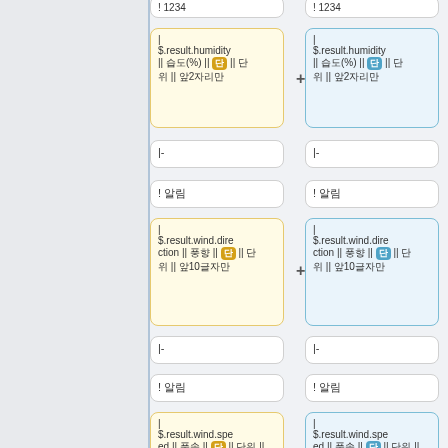[Figure (flowchart): Two-column flowchart showing diff/plus connectors between yellow and blue workflow cards containing Korean text with $.result.humidity, $.result.wind.direction, and $.result.wind.speed nodes, with separator rows labeled '|-' and '! 알림']
| $.result.humidity || 습도(%) || 단 || 단위 || 앞에2자리만
|-
! 알림
| $.result.wind.direction || 풍향 || 단 || 단위 || 앞에10글자만
|-
! 알림
| $.result.wind.speed || 풍속 || 단 || 단위 || 앞에10글자만
|-